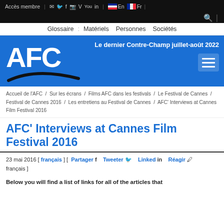Accès membre | ✉ 🐦 f 📷 V 🎞 in | 🇬🇧 En 🇫🇷 Fr
🔍
Glossaire : Matériels   Personnes   Sociétés
[Figure (logo): AFC logo with large white text 'AFC' and curved arc underneath on blue background, with text 'Le dernier Contre-Champ juillet-août 2022' and hamburger menu icon]
Accueil de l'AFC / Sur les écrans / Films AFC dans les festivals / Le Festival de Cannes / Festival de Cannes 2016 / Les entretiens au Festival de Cannes / AFC' Interviews at Cannes Film Festival 2016
AFC' Interviews at Cannes Film Festival 2016
23 mai 2016 [ français ] [  Partager f   Tweeter 🐦   Linked in   Réagir 🖊 français ]
Below you will find a list of links for all of the articles that